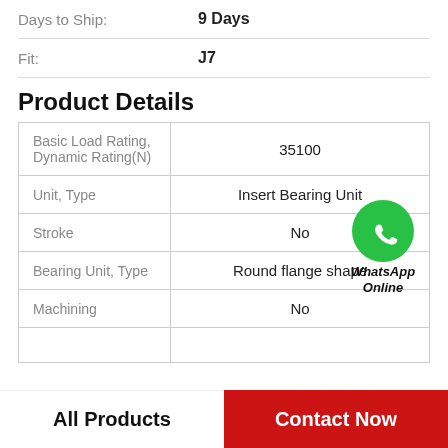| Days to Ship: | 9 Days |
| Fit: | J7 |
Product Details
| Basic Load Rating, Dynamic Rating(N) | 35100 |
| Unit, Type | Insert Bearing Unit |
| Stroke | No |
| Bearing Unit, Type | Round flange shape |
| Machining | No |
All Products
Contact Now